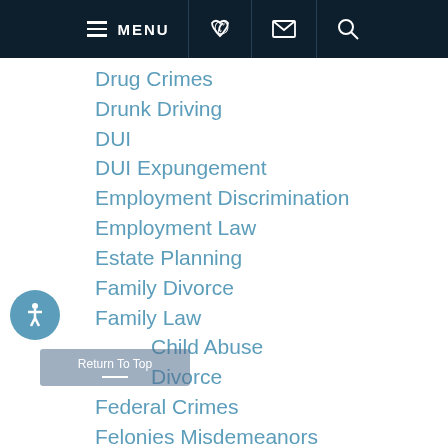MENU
Drug Crimes
Drunk Driving
DUI
DUI Expungement
Employment Discrimination
Employment Law
Estate Planning
Family Divorce
Family Law
Child Abuse
Divorce
Federal Crimes
Felonies Misdemeanors
General
Harassment
Racial Discrimination
Intellectual Property
Juvenile Offenses
Labor and Employment
Larceny Fraud